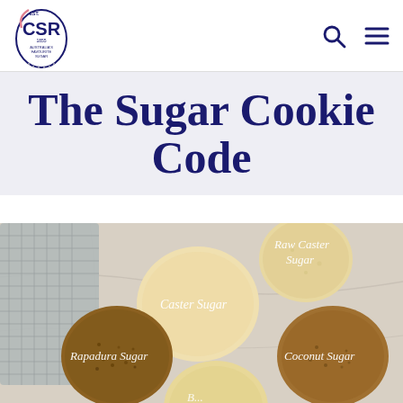CSR Sugar
The Sugar Cookie Code
[Figure (photo): Overhead photo of several round sugar cookies on a marble surface with a grey cloth napkin. Cookies are labeled with white script text: Raw Caster Sugar (top right), Caster Sugar (center), Rapadura Sugar (bottom left), Coconut Sugar (bottom right), and a partially visible label at the bottom center.]